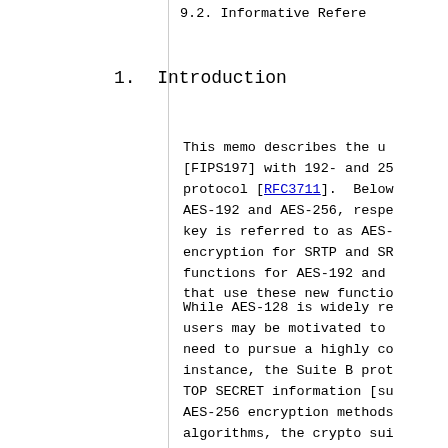9.2. Informative Refere
1.  Introduction
This memo describes the u[FIPS197] with 192- and 25 protocol [RFC3711].  Below AES-192 and AES-256, respe key is referred to as AES- encryption for SRTP and SR functions for AES-192 and that use these new functio
While AES-128 is widely re users may be motivated to need to pursue a highly co instance, the Suite B prot TOP SECRET information [su AES-256 encryption methods algorithms, the crypto sui